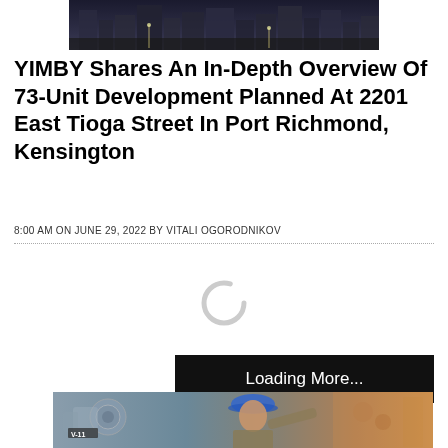[Figure (photo): Partial photo of a building/street scene at the top of the page]
YIMBY Shares An In-Depth Overview Of 73-Unit Development Planned At 2201 East Tioga Street In Port Richmond, Kensington
8:00 AM ON JUNE 29, 2022 BY VITALI OGORODNIKOV
[Figure (other): Loading spinner (circular arc indicator)]
Loading More...
[Figure (photo): Photo of a construction worker or engineer wearing a blue hard hat, working with industrial machinery at dusk]